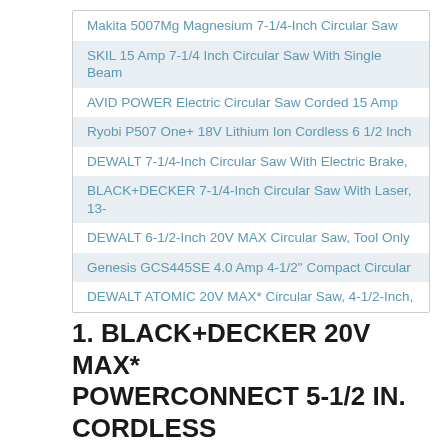Makita 5007Mg Magnesium 7-1/4-Inch Circular Saw
SKIL 15 Amp 7-1/4 Inch Circular Saw With Single Beam
AVID POWER Electric Circular Saw Corded 15 Amp
Ryobi P507 One+ 18V Lithium Ion Cordless 6 1/2 Inch
DEWALT 7-1/4-Inch Circular Saw With Electric Brake,
BLACK+DECKER 7-1/4-Inch Circular Saw With Laser, 13-
DEWALT 6-1/2-Inch 20V MAX Circular Saw, Tool Only
Genesis GCS445SE 4.0 Amp 4-1/2" Compact Circular
DEWALT ATOMIC 20V MAX* Circular Saw, 4-1/2-Inch,
1. BLACK+DECKER 20V MAX* POWERCONNECT 5-1/2 IN. CORDLESS CIRCULAR SAW